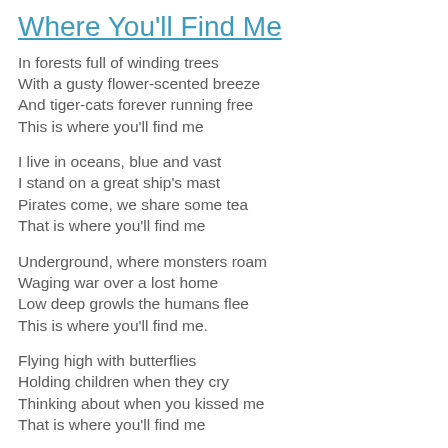Where You'll Find Me
In forests full of winding trees
With a gusty flower-scented breeze
And tiger-cats forever running free
This is where you'll find me
I live in oceans, blue and vast
I stand on a great ship's mast
Pirates come, we share some tea
That is where you'll find me
Underground, where monsters roam
Waging war over a lost home
Low deep growls the humans flee
This is where you'll find me.
Flying high with butterflies
Holding children when they cry
Thinking about when you kissed me
That is where you'll find me